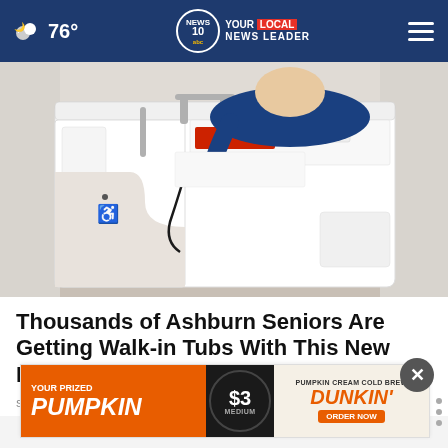76° NEWS 10 YOUR LOCAL NEWS LEADER
[Figure (photo): Person sitting in a white walk-in bathtub with handicap accessibility symbol, showing the door entry and controls]
Thousands of Ashburn Seniors Are Getting Walk-in Tubs With This New Program
Smart Consumer Update
[Figure (advertisement): Dunkin' advertisement: YOUR PRIZED PUMPKIN $3 MEDIUM - PUMPKIN CREAM COLD BREW - DUNKIN' ORDER NOW]